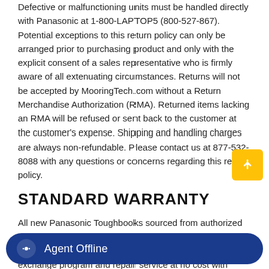Defective or malfunctioning units must be handled directly with Panasonic at 1-800-LAPTOP5 (800-527-867). Potential exceptions to this return policy can only be arranged prior to purchasing product and only with the explicit consent of a sales representative who is firmly aware of all extenuating circumstances. Returns will not be accepted by MooringTech.com without a Return Merchandise Authorization (RMA). Returned items lacking an RMA will be refused or sent back to the customer at the customer's expense. Shipping and handling charges are always non-refundable. Please contact us at 877-532-8088 with any questions or concerns regarding this return policy.
STANDARD WARRANTY
All new Panasonic Toughbooks sourced from authorized dealers are protected from manufacturing defects for three years. The standard warranty includes a priority parts exchange program and repair service at no cost with overnight shipping to and from Panasonic included. Panasonic's standard warranty (often referred to as "Toughbook Preferred") also includes lifetime technical support directly with Panasonic at 1-800-LAPTOP-5. In addition, Toughbook end-users have online access to drivers, first-aid disks, BIOS updates, tools, utilities and manuals.  Panasonic's Standard Manufacturer's Warranty does not cover accidental damage of any kind.